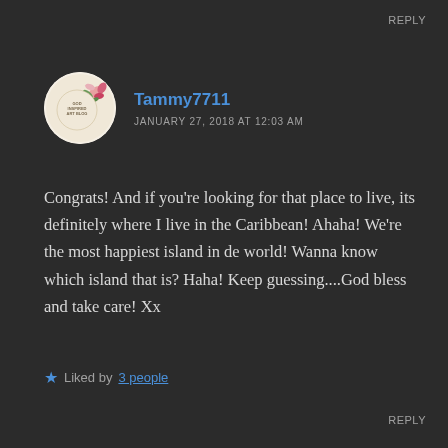REPLY
[Figure (logo): Circular avatar with floral illustration and text 'GOD INSPIRED ART BLOG']
Tammy7711
JANUARY 27, 2018 AT 12:03 AM
Congrats! And if you're looking for that place to live, its definitely where I live in the Caribbean! Ahaha! We're the most happiest island in de world! Wanna know which island that is? Haha! Keep guessing....God bless and take care! Xx
★ Liked by 3 people
REPLY